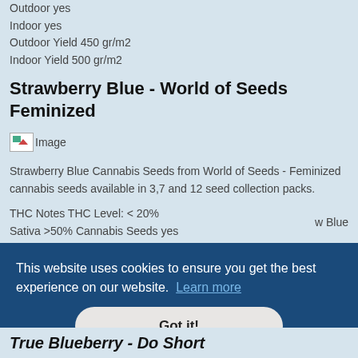Outdoor yes
Indoor yes
Outdoor Yield 450 gr/m2
Indoor Yield 500 gr/m2
Strawberry Blue - World of Seeds Feminized
[Figure (photo): Broken image placeholder]
Strawberry Blue Cannabis Seeds from World of Seeds - Feminized cannabis seeds available in 3,7 and 12 seed collection packs.
THC Notes THC Level: < 20%
Sativa >50% Cannabis Seeds yes
Sativa/Indica Notes 75% Sativa, 25% Indica
Flowering Outdoors 9 weeks indoors / middle of October outdoor
This website uses cookies to ensure you get the best experience on our website. Learn more
Got it!
w Blue
True Blueberry - Do Short